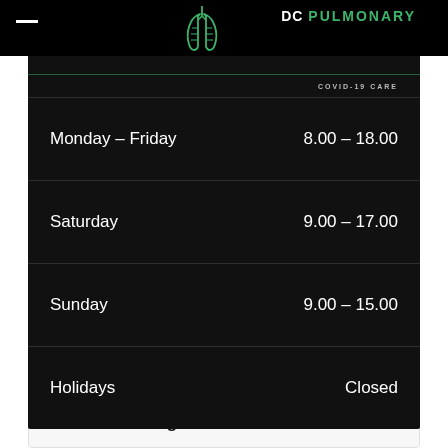[Figure (logo): DC Pulmonary logo with lungs icon and text]
| Day | Hours |
| --- | --- |
| Monday – Friday | 8.00 – 18.00 |
| Saturday | 9.00 – 17.00 |
| Sunday | 9.00 – 15.00 |
| Holidays | Closed |
Gum Treatments Protecting Teeth